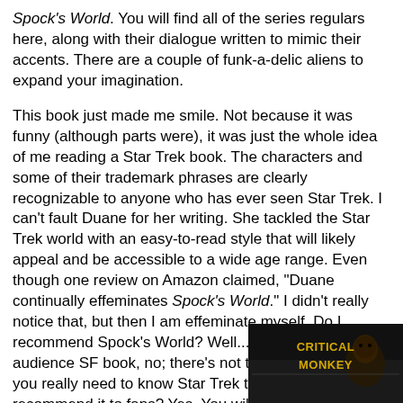Spock's World. You will find all of the series regulars here, along with their dialogue written to mimic their accents. There are a couple of funk-a-delic aliens to expand your imagination.
This book just made me smile. Not because it was funny (although parts were), it was just the whole idea of me reading a Star Trek book. The characters and some of their trademark phrases are clearly recognizable to anyone who has ever seen Star Trek. I can't fault Duane for her writing. She tackled the Star Trek world with an easy-to-read style that will likely appeal and be accessible to a wide age range. Even though one review on Amazon claimed, "Duane continually effeminates Spock's World." I didn't really notice that, but then I am effeminate myself. Do I recommend Spock's World? Well... as a general audience SF book, no; there's not that much action and you really need to know Star Trek to follow it. Would I recommend it to fans? Yes. You will like it. Will I read more in the Star Trek canon? No, please let this be it, Just Me. I am now anxiously awaiting the Star Wars book.
[Figure (logo): Critical Monkey logo — yellow/orange text on dark background with a figure]